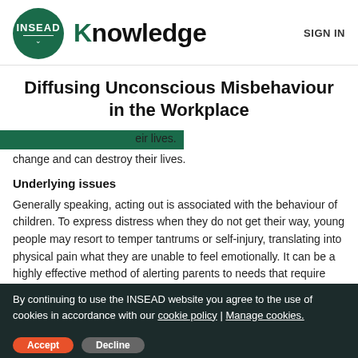INSEAD Knowledge | SIGN IN
Diffusing Unconscious Misbehaviour in the Workplace
change and can destroy their lives.
Underlying issues
Generally speaking, acting out is associated with the behaviour of children. To express distress when they do not get their way, young people may resort to temper tantrums or self-injury, translating into physical pain what they are unable to feel emotionally. It can be a highly effective method of alerting parents to needs that require attention. This is particularly true in
By continuing to use the INSEAD website you agree to the use of cookies in accordance with our cookie policy | Manage cookies.